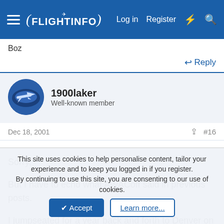[Figure (screenshot): FlightInfo website navigation bar with hamburger menu, FlightInfo logo, Log in, Register, lightning bolt icon, and search icon on blue background]
Boz
Reply
[Figure (photo): Circular avatar of user 1900laker showing an aircraft image]
1900laker
Well-known member
Dec 18, 2001  #16
Sorry,

But I have to echo what AWACoff said in previous posts.

I jumpseated for a year back and forth to Denver on United.
Now I greatly appreciate getting that free ride and for the most
This site uses cookies to help personalise content, tailor your experience and to keep you logged in if you register.
By continuing to use this site, you are consenting to our use of cookies.
Accept
Learn more...